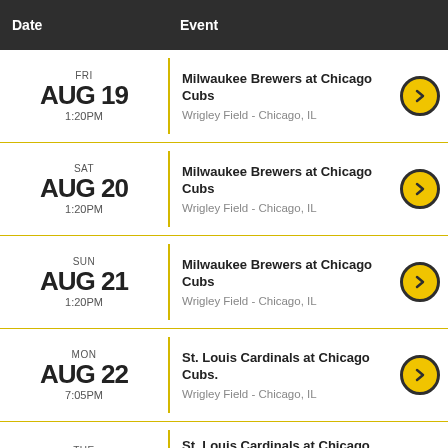| Date | Event |
| --- | --- |
| FRI AUG 19 1:20PM | Milwaukee Brewers at Chicago Cubs
Wrigley Field - Chicago, IL |
| SAT AUG 20 1:20PM | Milwaukee Brewers at Chicago Cubs
Wrigley Field - Chicago, IL |
| SUN AUG 21 1:20PM | Milwaukee Brewers at Chicago Cubs
Wrigley Field - Chicago, IL |
| MON AUG 22 7:05PM | St. Louis Cardinals at Chicago Cubs
Wrigley Field - Chicago, IL |
| TUE AUG 23 1:20PM | St. Louis Cardinals at Chicago Cubs (Rescheduled from 4/6/2022) (Split
Wrigley Field - Chicago, IL |